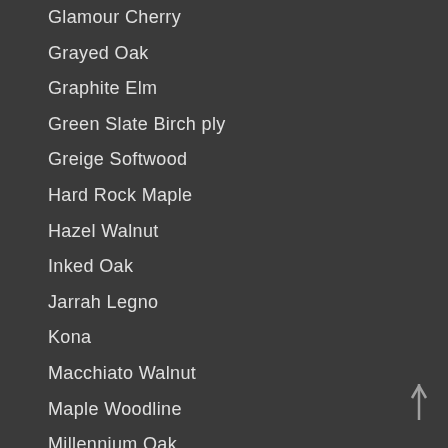Glamour Cherry
Grayed Oak
Graphite Elm
Green Slate Birch ply
Greige Softwood
Hard Rock Maple
Hazel Walnut
Inked Oak
Jarrah Legno
Kona
Macchiato Walnut
Maple Woodline
Millennium Oak
Natural Ash
Natural Birch
Natural Cane
Natural Cherry
Natural Maple